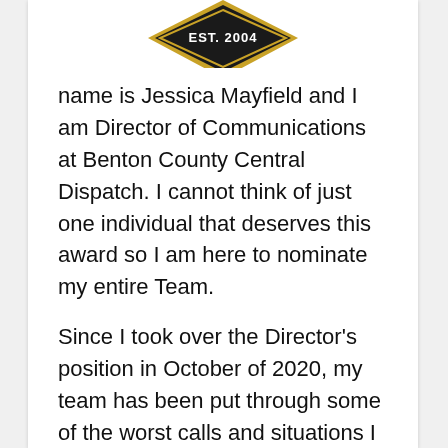[Figure (logo): Badge/shield logo with 'EST. 2004' text, black with gold border, partially visible at top of page]
name is Jessica Mayfield and I am Director of Communications at Benton County Central Dispatch. I cannot think of just one individual that deserves this award so I am here to nominate my entire Team.
Since I took over the Director's position in October of 2020, my team has been put through some of the worst calls and situations I have ever witnessed, and they all came out the other side standing stronger together. When I started working for this agency, we had far fall thr...